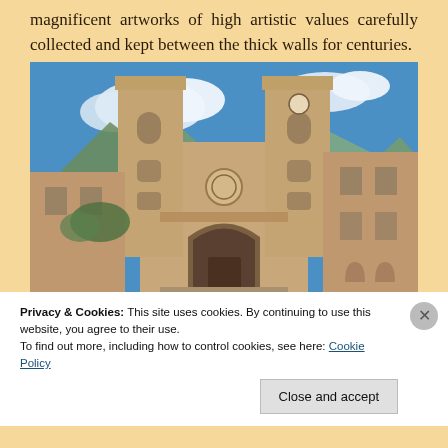magnificent artworks of high artistic values carefully collected and kept between the thick walls for centuries.
[Figure (photo): Photograph of a historic stone cathedral with two tall bell towers, taken from ground level looking up. The building features Romanesque architecture with an arched entrance portal and a rose window. Blue sky with white clouds and rocky mountains visible in the background.]
Privacy & Cookies: This site uses cookies. By continuing to use this website, you agree to their use.
To find out more, including how to control cookies, see here: Cookie Policy
Close and accept